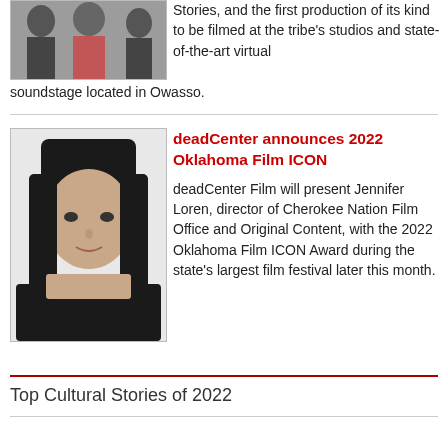[Figure (photo): Partial photo of people, top of page, color image cropped]
Stories, and the first production of its kind to be filmed at the tribe's studios and state-of-the-art virtual soundstage located in Owasso.
[Figure (photo): Black and white portrait photo of Jennifer Loren, a woman with dark straight hair and bangs]
deadCenter announces 2022 Oklahoma Film ICON
deadCenter Film will present Jennifer Loren, director of Cherokee Nation Film Office and Original Content, with the 2022 Oklahoma Film ICON Award during the state's largest film festival later this month.
Top Cultural Stories of 2022